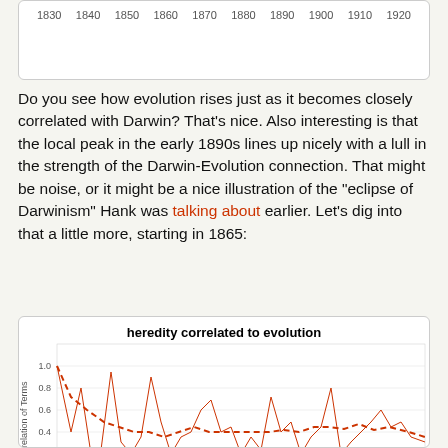[Figure (continuous-plot): Top portion of a line chart showing year axis from 1830 to 1920 with x-axis labels, partially visible at top of page]
Do you see how evolution rises just as it becomes closely correlated with Darwin? That's nice. Also interesting is that the local peak in the early 1890s lines up nicely with a lull in the strength of the Darwin-Evolution connection. That might be noise, or it might be a nice illustration of the "eclipse of Darwinism" Hank was talking about earlier. Let's dig into that a little more, starting in 1865:
[Figure (line-chart): Line chart showing heredity correlated to evolution from ~1865 onward. Two red lines: a thin solid line showing raw correlation values (volatile, ranging from near 0 to 1.0) and a dashed line showing a smoothed trend (starting near 1.0, declining to ~0.5 by 1880s, then hovering around 0.35-0.45). Y-axis labels: 0.2, 0.4, 0.6, 0.8, 1.0]